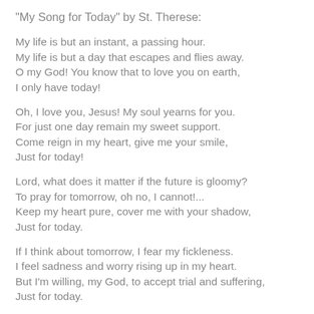"My Song for Today" by St. Therese:
My life is but an instant, a passing hour.
My life is but a day that escapes and flies away.
O my God! You know that to love you on earth,
I only have today!
Oh, I love you, Jesus! My soul yearns for you.
For just one day remain my sweet support.
Come reign in my heart, give me your smile,
Just for today!
Lord, what does it matter if the future is gloomy?
To pray for tomorrow, oh no, I cannot!...
Keep my heart pure, cover me with your shadow,
Just for today.
If I think about tomorrow, I fear my fickleness.
I feel sadness and worry rising up in my heart.
But I'm willing, my God, to accept trial and suffering,
Just for today.